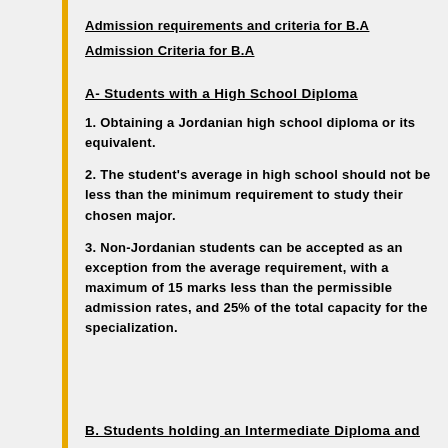Admission requirements and criteria for B.A
Admission Criteria for B.A
A- Students with a High School Diploma
1. Obtaining a Jordanian high school diploma or its equivalent.
2. The student's average in high school should not be less than the minimum requirement to study their chosen major.
3. Non-Jordanian students can be accepted as an exception from the average requirement, with a maximum of 15 marks less than the permissible admission rates, and 25% of the total capacity for the specialization.
B. Students holding an Intermediate Diploma and